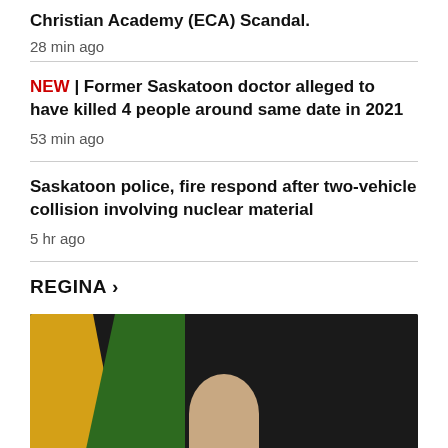Christian Academy (ECA) Scandal.
28 min ago
NEW | Former Saskatoon doctor alleged to have killed 4 people around same date in 2021
53 min ago
Saskatoon police, fire respond after two-vehicle collision involving nuclear material
5 hr ago
REGINA >
[Figure (photo): Photo of a person in front of yellow and green background, possibly flags]